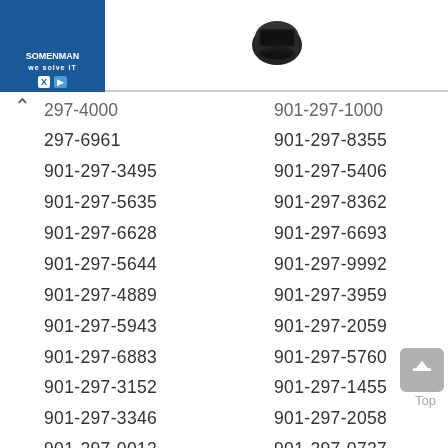[Figure (logo): Blue logo with text and navigation icons (X and play button)]
[Figure (photo): Black electronic device (card reader or similar) on white background]
297-4000 / 901-297-1000
297-6961 / 901-297-8355
901-297-3495 / 901-297-5406
901-297-5635 / 901-297-8362
901-297-6628 / 901-297-6693
901-297-5644 / 901-297-9992
901-297-4889 / 901-297-3959
901-297-5943 / 901-297-2059
901-297-6883 / 901-297-5760
901-297-3152 / 901-297-1455
901-297-3346 / 901-297-2058
901-297-0012 / 901-297-0727
901-297-6001 / 901-297-8621
901-297-8739 / 901-297-1845
901-297-2915 / 901-297-9739
901-297-7528 / 901-297-3559
901-297-6514 / 901-297-2350
901-297-0802 / 901-297-7570
901-297-4953 / 901-297-7935
901-297-4538 / 901-297-1887
901-297-4917 / 901-297-3674